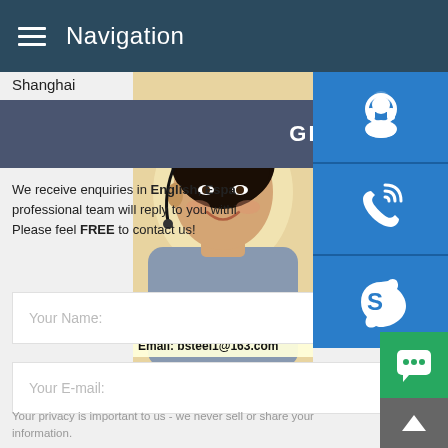Navigation
Shanghai
GET IN TOUCH
We receive enquiries in English, Espa... professional team will reply to you withi... Please feel FREE to contact us!
[Figure (photo): Woman with headset/microphone customer service representative, with overlay text: MANUAL SE, QUOTING O, Email: bsteel1@163.com]
Your Name:
Your E-mail:
Your privacy is important to us - we never sell or share your information.